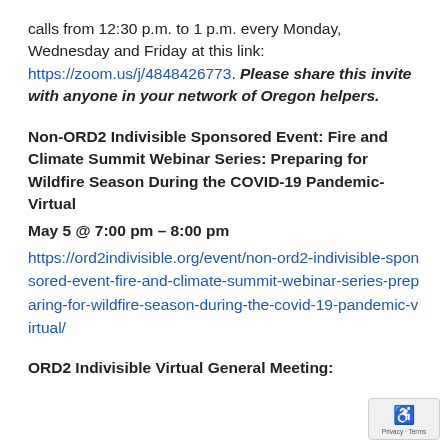calls from 12:30 p.m. to 1 p.m. every Monday, Wednesday and Friday at this link: https://zoom.us/j/4848426773. Please share this invite with anyone in your network of Oregon helpers.
Non-ORD2 Indivisible Sponsored Event: Fire and Climate Summit Webinar Series: Preparing for Wildfire Season During the COVID-19 Pandemic- Virtual
May 5 @ 7:00 pm – 8:00 pm
https://ord2indivisible.org/event/non-ord2-indivisible-sponsored-event-fire-and-climate-summit-webinar-series-preparing-for-wildfire-season-during-the-covid-19-pandemic-virtual/
ORD2 Indivisible Virtual General Meeting: